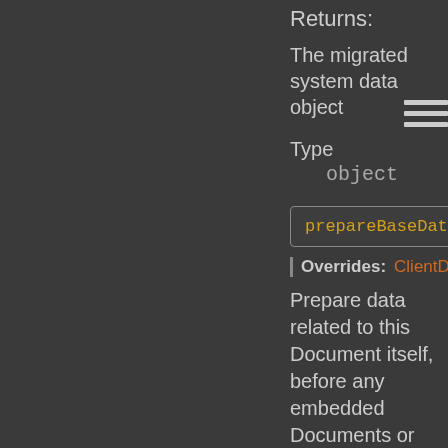Returns:
The migrated system data object
Type
    object
prepareBaseData
Overrides: ClientDocu...
Prepare data related to this Document itself, before any embedded Documents or derived data is computed.